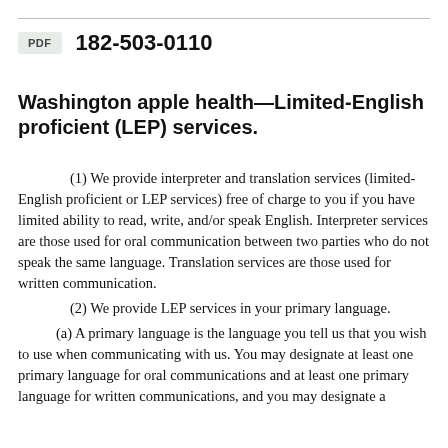182-503-0110
Washington apple health—Limited-English proficient (LEP) services.
(1) We provide interpreter and translation services (limited-English proficient or LEP services) free of charge to you if you have limited ability to read, write, and/or speak English. Interpreter services are those used for oral communication between two parties who do not speak the same language. Translation services are those used for written communication.
(2) We provide LEP services in your primary language.
(a) A primary language is the language you tell us that you wish to use when communicating with us. You may designate at least one primary language for oral communications and at least one primary language for written communications, and you may designate a